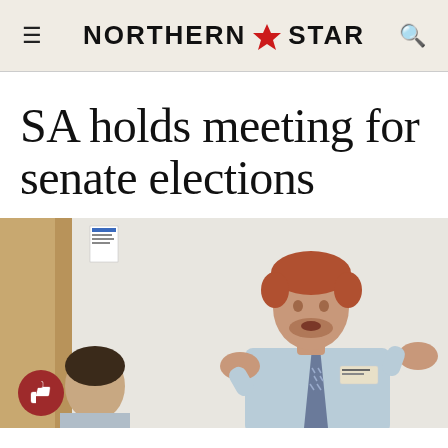NORTHERN ★ STAR
SA holds meeting for senate elections
[Figure (photo): A man with red hair wearing a light blue button-down shirt and striped tie stands in front of a whiteboard speaking, with his hands raised expressively. A second person is partially visible in the lower left foreground. A thumbs-up like button icon appears in the lower left corner of the photo.]